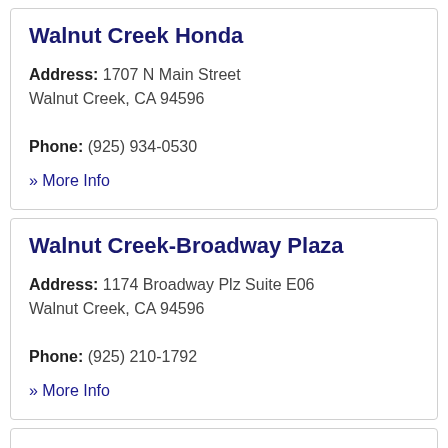Walnut Creek Honda
Address: 1707 N Main Street
Walnut Creek, CA 94596

Phone: (925) 934-0530
» More Info
Walnut Creek-Broadway Plaza
Address: 1174 Broadway Plz Suite E06
Walnut Creek, CA 94596

Phone: (925) 210-1792
» More Info
Home | Boaz, AL dodge dealers | Cabot, AR auto dealers | North Little Rock, AR automobile dealers | Burbank, CA honda dealers